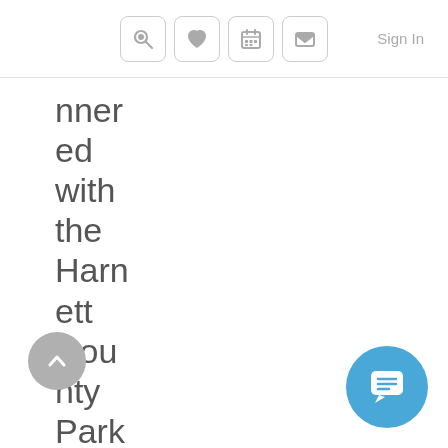Sign In
nected with the Harnett County Parks and Recreation Department